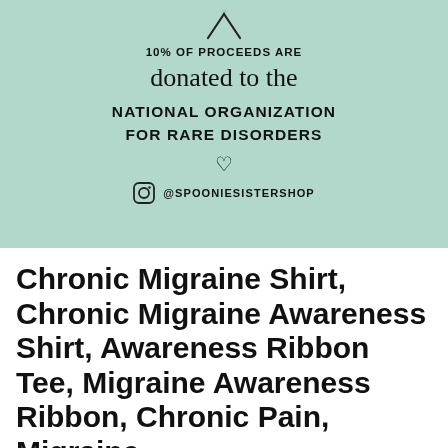[Figure (illustration): Mint green banner with awareness ribbon icon at top, text '10% OF PROCEEDS ARE donated to the NATIONAL ORGANIZATION FOR RARE DISORDERS', heart outline symbol, and Instagram handle @SPOONIESISTERSHOP]
Chronic Migraine Shirt, Chronic Migraine Awareness Shirt, Awareness Ribbon Tee, Migraine Awareness Ribbon, Chronic Pain, Migraine